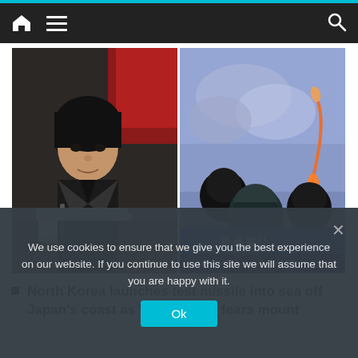Navigation bar with home, menu, and search icons
[Figure (photo): Composite of two photos side by side: left shows Kim Jong Un seated at a meeting table with a white cup and red flag background; right shows people watching a TV screen broadcasting a missile launch with Korean text overlay reading '체 또 발사']
North Korea launches test missile into sea off Japan's coast as World War 3 fears mount
We use cookies to ensure that we give you the best experience on our website. If you continue to use this site we will assume that you are happy with it.
Ok